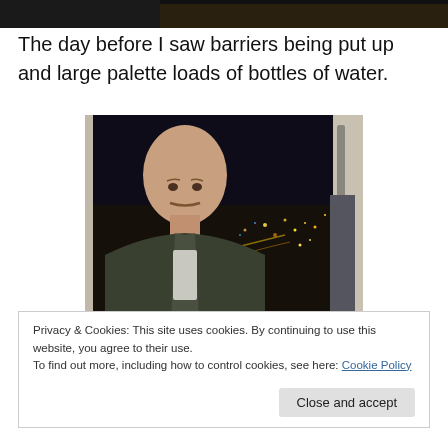[Figure (photo): Partial top edge of a photo, dark/black tones, cropped at top of page]
The day before I saw barriers being put up and large palette loads of bottles of water.
[Figure (photo): Man with a moustache standing in front of a window overlooking a city at night with many lights visible]
Privacy & Cookies: This site uses cookies. By continuing to use this website, you agree to their use.
To find out more, including how to control cookies, see here: Cookie Policy
Close and accept